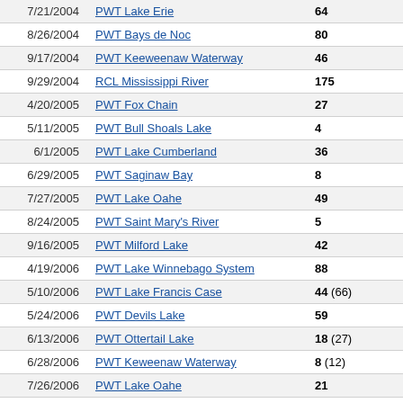| Date | Event | Score |
| --- | --- | --- |
| 7/21/2004 | PWT Lake Erie | 64 |
| 8/26/2004 | PWT Bays de Noc | 80 |
| 9/17/2004 | PWT Keeweenaw Waterway | 46 |
| 9/29/2004 | RCL Mississippi River | 175 |
| 4/20/2005 | PWT Fox Chain | 27 |
| 5/11/2005 | PWT Bull Shoals Lake | 4 |
| 6/1/2005 | PWT Lake Cumberland | 36 |
| 6/29/2005 | PWT Saginaw Bay | 8 |
| 7/27/2005 | PWT Lake Oahe | 49 |
| 8/24/2005 | PWT Saint Mary's River | 5 |
| 9/16/2005 | PWT Milford Lake | 42 |
| 4/19/2006 | PWT Lake Winnebago System | 88 |
| 5/10/2006 | PWT Lake Francis Case | 44 (66) |
| 5/24/2006 | PWT Devils Lake | 59 |
| 6/13/2006 | PWT Ottertail Lake | 18 (27) |
| 6/28/2006 | PWT Keweenaw Waterway | 8 (12) |
| 7/26/2006 | PWT Lake Oahe | 21 |
| 8/9/2006 | PWT Mille Lacs Lake | 32 (48) |
| 8/23/2006 | PWT Bay de Noc | 51 |
| 10/12/2006 | PWT Missouri River | 19 |